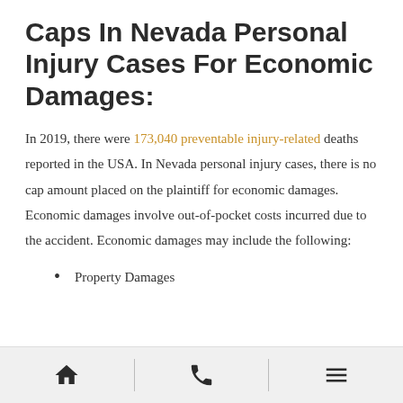Caps In Nevada Personal Injury Cases For Economic Damages:
In 2019, there were 173,040 preventable injury-related deaths reported in the USA. In Nevada personal injury cases, there is no cap amount placed on the plaintiff for economic damages. Economic damages involve out-of-pocket costs incurred due to the accident. Economic damages may include the following:
Property Damages